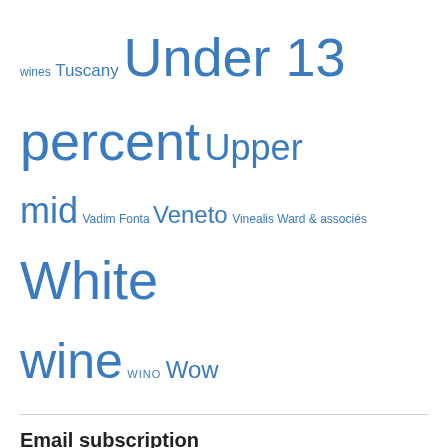wines Tuscany Under 13 percent Upper mid Vadim Fonta Veneto Vinealis Ward & associés White wine WINO Wow
Email subscription
Enter your email address to subscribe to this blog and receive notifications of new posts by email.
Enter your email address
Sign me up!
RSS links